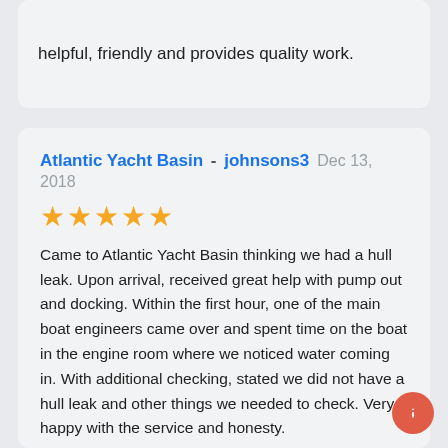helpful, friendly and provides quality work.
Atlantic Yacht Basin - johnsons3  Dec 13, 2018
★★★★★
Came to Atlantic Yacht Basin thinking we had a hull leak. Upon arrival, received great help with pump out and docking. Within the first hour, one of the main boat engineers came over and spent time on the boat in the engine room where we noticed water coming in. With additional checking, stated we did not have a hull leak and other things we needed to check. Very happy with the service and honesty.